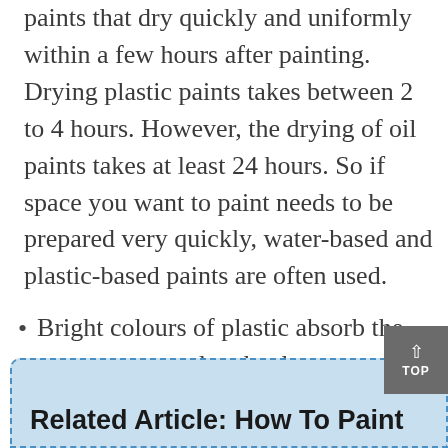paints that dry quickly and uniformly within a few hours after painting. Drying plastic paints takes between 2 to 4 hours. However, the drying of oil paints takes at least 24 hours. So if space you want to paint needs to be prepared very quickly, water-based and plastic-based paints are often used.
Bright colours of plastic absorb the temperature and make the room temperature more balanced in summer. If you are painting the wall of a room that is exposed to direct sunlight, using light plastic paint can be a good option.
Related Article: How To Paint